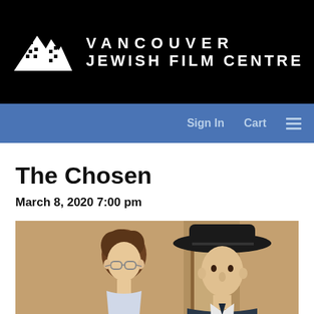[Figure (logo): Vancouver Jewish Film Centre logo — white mountain/film strip icon and white text on black background]
Sign In   Cart   ☰
The Chosen
March 8, 2020 7:00 pm
[Figure (photo): Film still from The Chosen showing two young men facing each other, one with curly hair and glasses, the other wearing a black wide-brimmed hat]